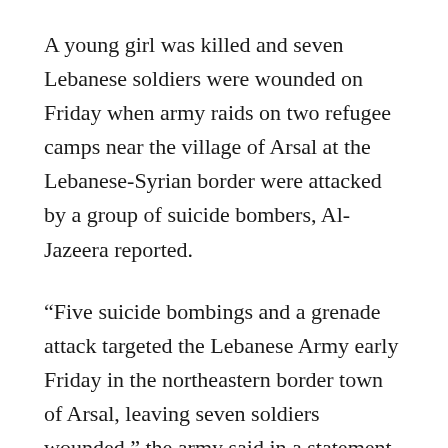A young girl was killed and seven Lebanese soldiers were wounded on Friday when army raids on two refugee camps near the village of Arsal at the Lebanese-Syrian border were attacked by a group of suicide bombers, Al-Jazeera reported.
“Five suicide bombings and a grenade attack targeted the Lebanese Army early Friday in the northeastern border town of Arsal, leaving seven soldiers wounded,” the army said in a statement, Al-Jazeera added.
Al-Jazeera indicated that four of the suicide bombers struck in the al-Nour camp near the